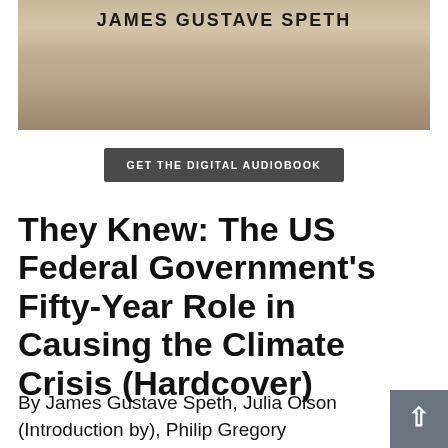[Figure (photo): Book cover image showing author name JAMES GUSTAVE SPETH in bold letters on a muted beige/tan sky background]
GET THE DIGITAL AUDIOBOOK
They Knew: The US Federal Government's Fifty-Year Role in Causing the Climate Crisis (Hardcover)
By James Gustave Speth, Julia Olson (Introduction by), Philip Gregory (Introduction